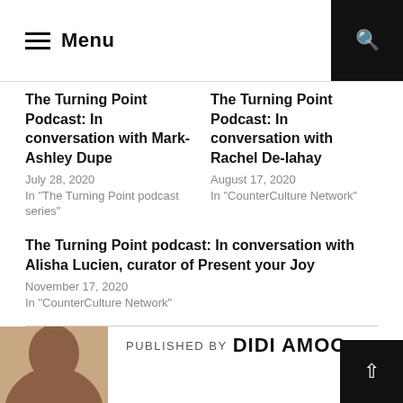Menu
The Turning Point Podcast: In conversation with Mark-Ashley Dupe
July 28, 2020
In "The Turning Point podcast series"
The Turning Point Podcast: In conversation with Rachel De-lahay
August 17, 2020
In "CounterCulture Network"
The Turning Point podcast: In conversation with Alisha Lucien, curator of Present your Joy
November 17, 2020
In "CounterCulture Network"
PUBLISHED BY DIDI AMOO